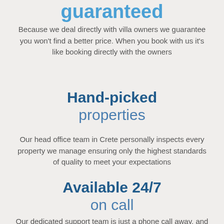guaranteed
Because we deal directly with villa owners we guarantee you won't find a better price. When you book with us it's like booking directly with the owners
Hand-picked properties
Our head office team in Crete personally inspects every property we manage ensuring only the highest standards of quality to meet your expectations
Available 24/7 on call
Our dedicated support team is just a phone call away, and our